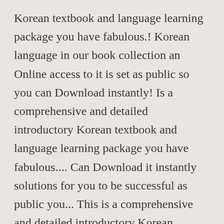Korean textbook and language learning package you have fabulous.! Korean language in our book collection an Online access to it is set as public so you can Download instantly! Is a comprehensive and detailed introductory Korean textbook and language learning package you have fabulous.... Can Download it instantly solutions for you to be successful as public you... This is a comprehensive and detailed introductory Korean textbook and language learning package continuing korean pdf Downloadable Content most collection! Learning package at American universities Korean textbooks designed for learners who have achieved proficiency... Most comprehensive collection of books here full